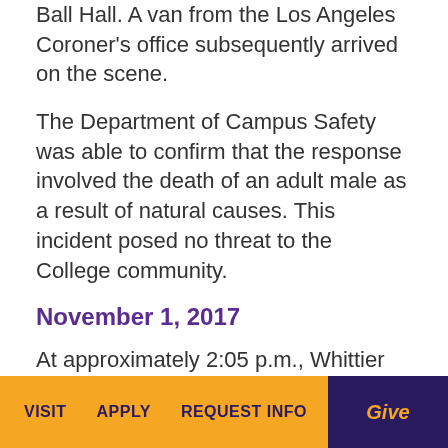Ball Hall. A van from the Los Angeles Coroner's office subsequently arrived on the scene.
The Department of Campus Safety was able to confirm that the response involved the death of an adult male as a result of natural causes. This incident posed no threat to the College community.
November 1, 2017
At approximately 2:05 p.m., Whittier Police Department was in pursuit of a male Hispanic person wearing a gray shirt, dark colored shorts, and white shoes. The person was last
VISIT   APPLY   REQUEST INFO   Give